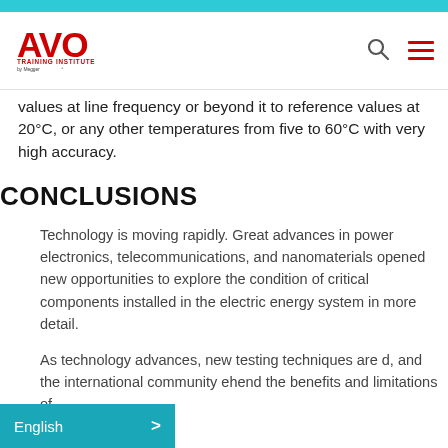[Figure (logo): AVO Training Institute by Megger logo in red]
values at line frequency or beyond it to reference values at 20°C, or any other temperatures from five to 60°C with very high accuracy.
CONCLUSIONS
Technology is moving rapidly. Great advances in power electronics, telecommunications, and nanomaterials opened new opportunities to explore the condition of critical components installed in the electric energy system in more detail.
As technology advances, new testing techniques are d, and the international community ehend the benefits and limitations of